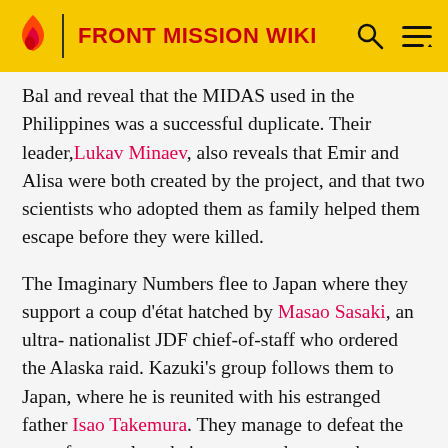FRONT MISSION WIKI
Bal and reveal that the MIDAS used in the Philippines was a successful duplicate. Their leader, Lukav Minaev, also reveals that Emir and Alisa were both created by the project, and that two scientists who adopted them as family helped them escape before they were killed.
The Imaginary Numbers flee to Japan where they support a coup d'état hatched by Masao Sasaki, an ultra-nationalist JDF chief-of-staff who ordered the Alaska raid. Kazuki's group follows them to Japan, where he is reunited with his estranged father Isao Takemura. They manage to defeat the coup forces, clear their names and pursue the Imaginary Numbers back to Okinawa Ocean City. Although they finally defeat the Imaginary Numbers